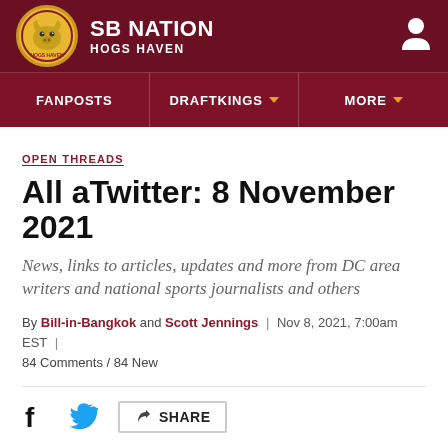SB NATION / HOGS HAVEN
FANPOSTS | DRAFTKINGS | MORE
OPEN THREADS
All aTwitter: 8 November 2021
News, links to articles, updates and more from DC area writers and national sports journalists and others
By Bill-in-Bangkok and Scott Jennings | Nov 8, 2021, 7:00am EST | 84 Comments / 84 New